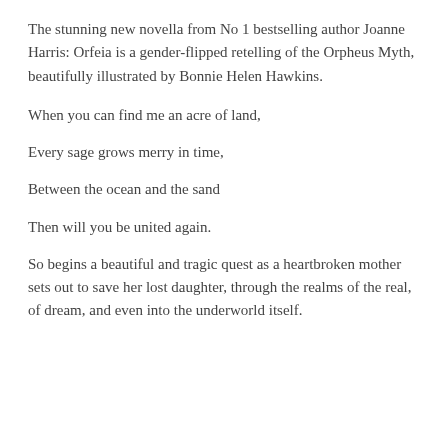The stunning new novella from No 1 bestselling author Joanne Harris: Orfeia is a gender-flipped retelling of the Orpheus Myth, beautifully illustrated by Bonnie Helen Hawkins.
When you can find me an acre of land,
Every sage grows merry in time,
Between the ocean and the sand
Then will you be united again.
So begins a beautiful and tragic quest as a heartbroken mother sets out to save her lost daughter, through the realms of the real, of dream, and even into the underworld itself.